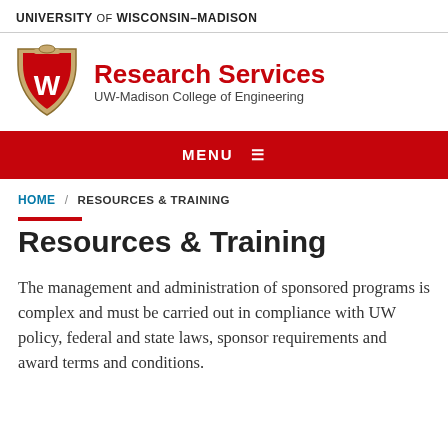UNIVERSITY of WISCONSIN-MADISON
[Figure (logo): UW-Madison shield logo with W crest]
Research Services
UW-Madison College of Engineering
MENU
HOME / RESOURCES & TRAINING
Resources & Training
The management and administration of sponsored programs is complex and must be carried out in compliance with UW policy, federal and state laws, sponsor requirements and award terms and conditions.